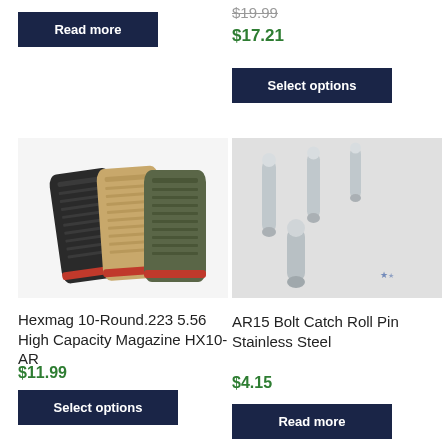[Figure (photo): Read more button top left (partially visible product above)]
Read more
$19.99
$17.21
Select options
[Figure (photo): Hexmag 10-Round .223 5.56 High Capacity Magazine HX10-AR in three colors: black, tan, and green]
Hexmag 10-Round.223 5.56 High Capacity Magazine HX10-AR
$11.99
Select options
[Figure (photo): AR15 Bolt Catch Roll Pin Stainless Steel - several stainless steel cylindrical pins on white background]
AR15 Bolt Catch Roll Pin Stainless Steel
$4.15
Read more